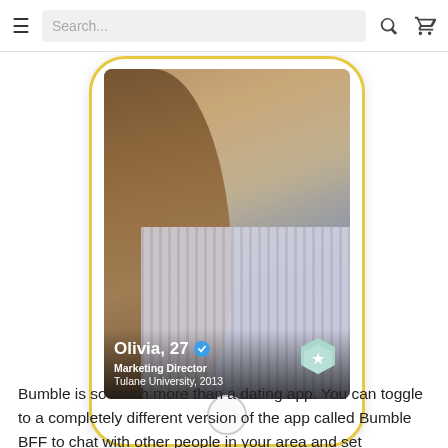≡  Search...  🔍  🛒
[Figure (screenshot): Screenshot of Bumble dating app profile showing a woman named Olivia, 27, Marketing Director, Tulane University 2013, with a verified badge and a hexagon star button]
Bumble is so much more than a dating app. You can toggle to a completely different version of the app called Bumble BFF to chat with other people in your area and set